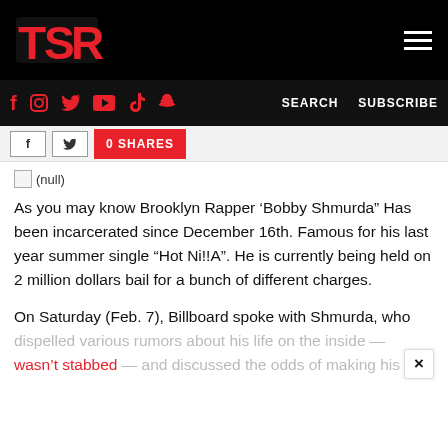TSR — Navigation bar with logo and hamburger menu
Social icons: f, Instagram, Twitter, YouTube, TikTok, Snapchat — SEARCH  SUBSCRIBE
0 SHARES
[Figure (other): (null) broken image placeholder]
As you may know Brooklyn Rapper 'Bobby Shmurda" Has been incarcerated since December 16th. Famous for his last year summer single “Hot Ni!!A”. He is currently being held on 2 million dollars bail for a bunch of different charges.
On Saturday (Feb. 7), Billboard spoke with Shmurda, who dispelled various rumors about his life on the inside — wasn't stabbed — and discussed the odds of making his